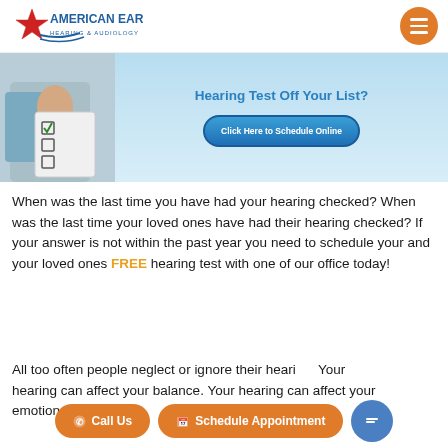American Ear Hearing & Audiology
[Figure (screenshot): Hero banner with checklist image and 'Hearing Test Off Your List?' heading and 'Click Here to Schedule Online' button]
When was the last time you have had your hearing checked? When was the last time your loved ones have had their hearing checked? If your answer is not within the past year you need to schedule your and your loved ones FREE hearing test with one of our office today!
All too often people neglect or ignore their hearing. Your hearing can affect your balance. Your hearing can affect your emotions.